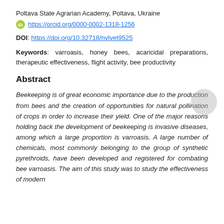Poltava State Agrarian Academy, Poltava, Ukraine
https://orcid.org/0000-0002-1318-1256
DOI: https://doi.org/10.32718/nvlvet9525
Keywords: varroasis, honey bees, acaricidal preparations, therapeutic effectiveness, flight activity, bee productivity
Abstract
Beekeeping is of great economic importance due to the production from bees and the creation of opportunities for natural pollination of crops in order to increase their yield. One of the major reasons holding back the development of beekeeping is invasive diseases, among which a large proportion is varroasis. A large number of chemicals, most commonly belonging to the group of synthetic pyrethroids, have been developed and registered for combating bee varroasis. The aim of this study was to study the effectiveness of modern